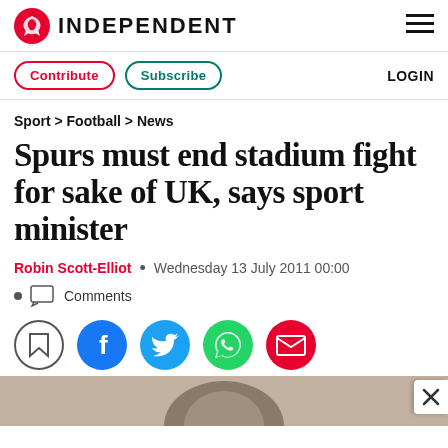INDEPENDENT
Contribute  Subscribe  LOGIN
Sport > Football > News
Spurs must end stadium fight for sake of UK, says sport minister
Robin Scott-Elliot  •  Wednesday 13 July 2011 00:00
Comments
[Figure (other): Social share icons: bookmark, Facebook, Twitter, WhatsApp, Email]
[Figure (photo): Partially visible photo of a person at the bottom of the page]